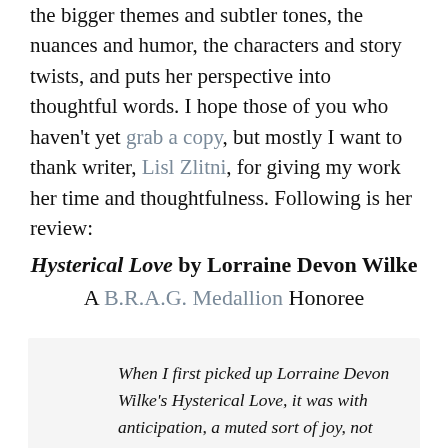the bigger themes and subtler tones, the nuances and humor, the characters and story twists, and puts her perspective into thoughtful words. I hope those of you who haven't yet grab a copy, but mostly I want to thank writer, Lisl Zlitni, for giving my work her time and thoughtfulness. Following is her review:
Hysterical Love by Lorraine Devon Wilke
A B.R.A.G. Medallion Honoree
When I first picked up Lorraine Devon Wilke's Hysterical Love, it was with anticipation, a muted sort of joy, not unlike that of a child anticipating a